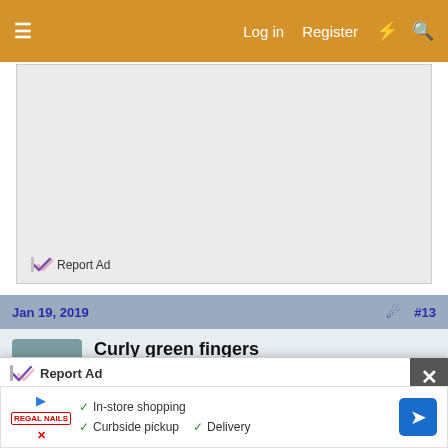≡  Log in  Register  ⚡  🔍
[Figure (screenshot): Advertisement placeholder box (gray background)]
Report Ad
Jan 19, 2019   #13
Curly green fingers
Guest
[Figure (screenshot): Bottom ad overlay with Report Ad label and close button, featuring In-store shopping, Curbside pickup, Delivery ad]